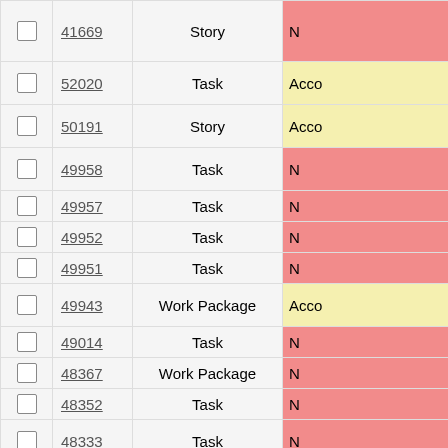|  | ID | Type | Status |
| --- | --- | --- | --- |
| ☐ | 41669 | Story | N… |
| ☐ | 52020 | Task | Acco… |
| ☐ | 50191 | Story | Acco… |
| ☐ | 49958 | Task | N… |
| ☐ | 49957 | Task | N… |
| ☐ | 49952 | Task | N… |
| ☐ | 49951 | Task | N… |
| ☐ | 49943 | Work Package | Acco… |
| ☐ | 49014 | Task | N… |
| ☐ | 48367 | Work Package | N… |
| ☐ | 48352 | Task | N… |
| ☐ | 48333 | Task | N… |
| ☐ | 48329 | Task | N… |
| ☐ | 48328 | Task | Acco… |
| ☐ | 48291 | Task | Acco… |
| ☐ | 48275 | Work Package | N… |